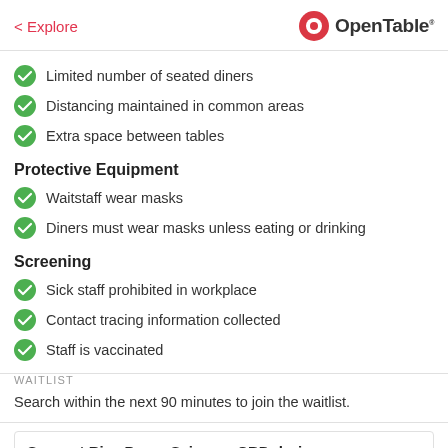< Explore | OpenTable
Limited number of seated diners
Distancing maintained in common areas
Extra space between tables
Protective Equipment
Waitstaff wear masks
Diners must wear masks unless eating or drinking
Screening
Sick staff prohibited in workplace
Contact tracing information collected
Staff is vaccinated
WAITLIST
Search within the next 90 minutes to join the waitlist.
Support Rice Paper Scissors CBD during